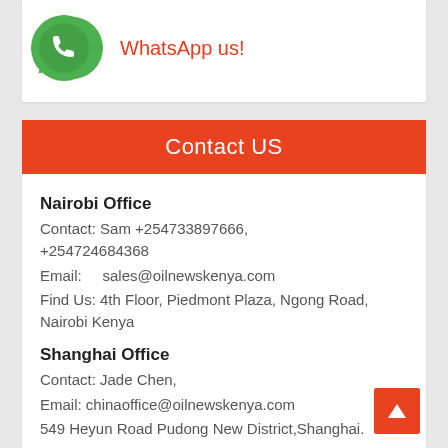[Figure (logo): WhatsApp green circular logo icon]
WhatsApp us!
Contact US
Nairobi Office
Contact: Sam +254733897666, +254724684368
Email:    sales@oilnewskenya.com
Find Us: 4th Floor, Piedmont Plaza, Ngong Road, Nairobi Kenya
Shanghai Office
Contact: Jade Chen,
Email: chinaoffice@oilnewskenya.com
549 Heyun Road Pudong New District,Shanghai.
Tel:    +86-132-6287-2236,